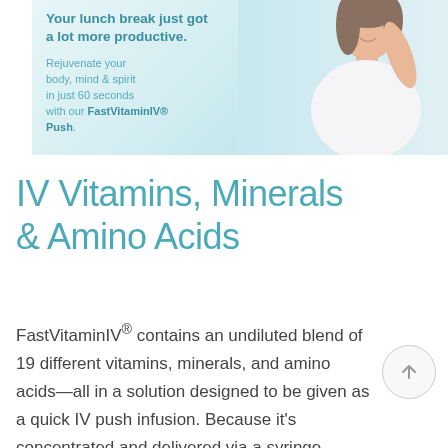[Figure (illustration): Advertisement banner with teal background showing a smiling woman with text: 'Your lunch break just got a lot more productive.' and 'Rejuvenate your body, mind & spirit in just 60 seconds with our FastVitaminIV® Push.']
IV Vitamins, Minerals & Amino Acids
FastVitaminIV® contains an undiluted blend of 19 different vitamins, minerals, and amino acids—all in a solution designed to be given as a quick IV push infusion. Because it's concentrated and delivered via a syringe instead of an IV